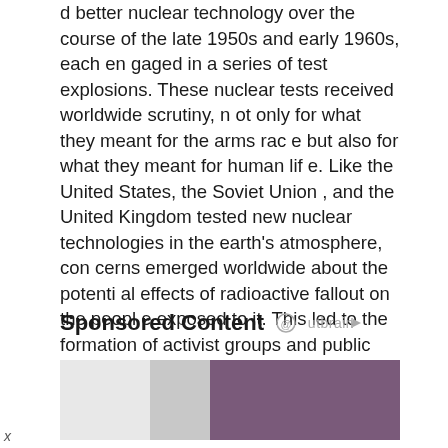d better nuclear technology over the course of the late 1950s and early 1960s, each engaged in a series of test explosions. These nuclear tests received worldwide scrutiny, not only for what they meant for the arms race but also for what they meant for human life. Like the United States, the Soviet Union , and the United Kingdom tested new nuclear technologies in the earth's atmosphere, concerns emerged worldwide about the potential effects of radioactive fallout on the people exposed to it. This led to the formation of activist groups and public discussion of the issue.
Sponsored Content
[Figure (photo): Partial image showing a person with reddish-purple background, partially cut off at the bottom of the page]